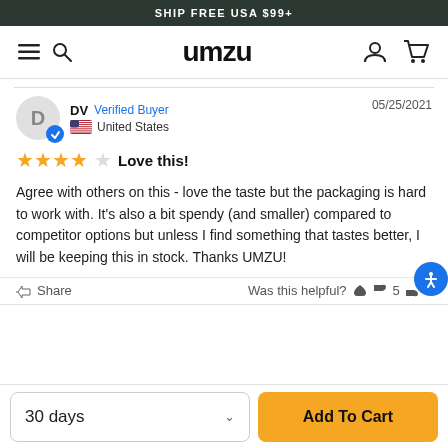SHIP FREE USA $99+
[Figure (logo): UMZU logo with hamburger menu, search icon, user icon, and cart icon in navigation bar]
DV  Verified Buyer  05/25/2021  United States
★★★★☆  Love this!
Agree with others on this - love the taste but the packaging is hard to work with. It's also a bit spendy (and smaller) compared to competitor options but unless I find something that tastes better, I will be keeping this in stock. Thanks UMZU!
Share  Was this helpful?  👍 5  👎 0
30 days
Add To Cart